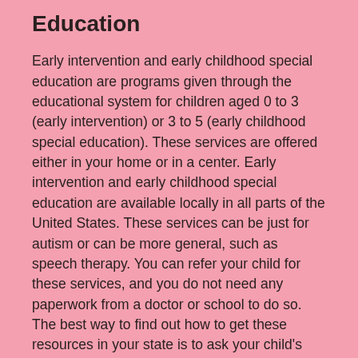Early Intervention and Early Childhood Special Education
Early intervention and early childhood special education are programs given through the educational system for children aged 0 to 3 (early intervention) or 3 to 5 (early childhood special education). These services are offered either in your home or in a center. Early intervention and early childhood special education are available locally in all parts of the United States. These services can be just for autism or can be more general, such as speech therapy. You can refer your child for these services, and you do not need any paperwork from a doctor or school to do so. The best way to find out how to get these resources in your state is to ask your child's pediatrician or look online. Once you have made a request, federal